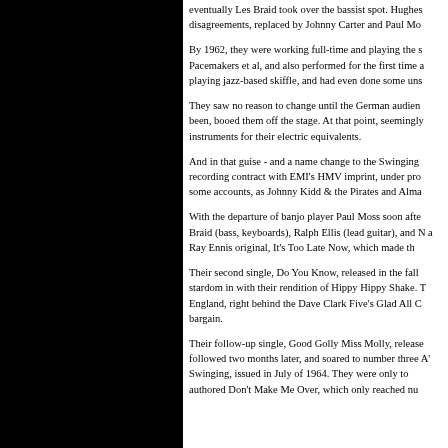eventually Les Braid took over the bassist spot. Hughes disagreements, replaced by Johnny Carter and Paul Mo
By 1962, they were working full-time and playing the s Pacemakers et al, and also performed for the first time a playing jazz-based skiffle, and had even done some uns
They saw no reason to change until the German audien been, booed them off the stage. At that point, seemingly instruments for their electric equivalents.
And in that guise - and a name change to the Swinging recording contract with EMI's HMV imprint, under pro some accounts, as Johnny Kidd & the Pirates and Alma
With the departure of banjo player Paul Moss soon afte Braid (bass, keyboards), Ralph Ellis (lead guitar), and N a Ray Ennis original, It's Too Late Now, which made th
Their second single, Do You Know, released in the fall stardom in with their rendition of Hippy Hippy Shake. T England, right behind the Dave Clark Five's Glad All C bargain.
Their follow-up single, Good Golly Miss Molly, release followed two months later, and soared to number three A' Swinging, issued in July of 1964. They were only to authored Don't Make Me Over, which only reached nu